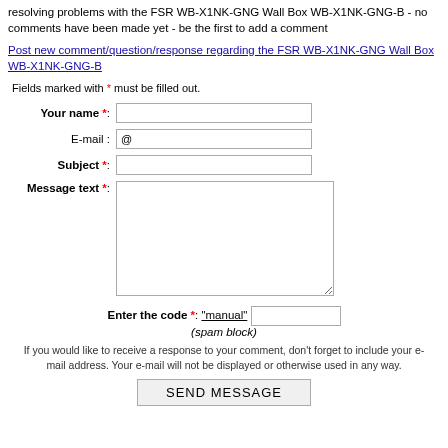resolving problems with the FSR WB-X1NK-GNG Wall Box WB-X1NK-GNG-B - no comments have been made yet - be the first to add a comment
Post new comment/question/response regarding the FSR WB-X1NK-GNG Wall Box WB-X1NK-GNG-B
Fields marked with * must be filled out.
Your name *: [input field]
E-mail : @ [input field]
Subject *: [input field]
Message text *: [textarea]
Enter the code *: (spam block) "manual" [input field]
If you would like to receive a response to your comment, don’t forget to include your e-mail address. Your e-mail will not be displayed or otherwise used in any way.